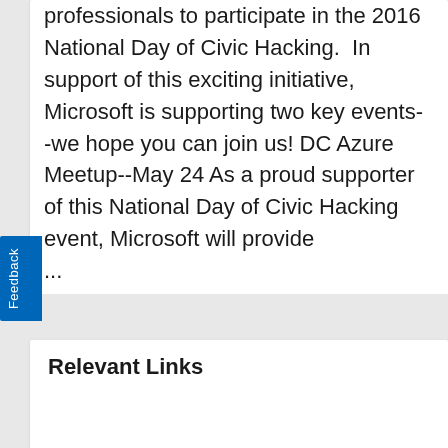professionals to participate in the 2016 National Day of Civic Hacking.  In support of this exciting initiative, Microsoft is supporting two key events--we hope you can join us! DC Azure Meetup--May 24 As a proud supporter of this National Day of Civic Hacking event, Microsoft will provide ...
0  0
Azure  Azure Government  Code for America
Relevant Links